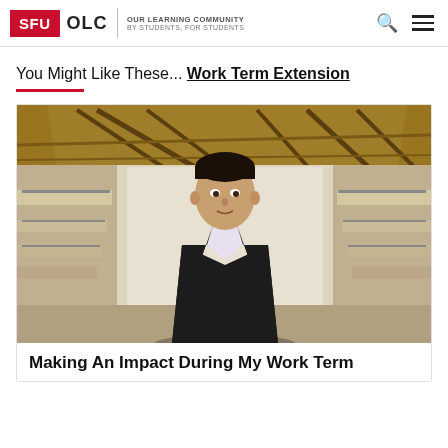SFU OLC | OUR LEARNING COMMUNITY BY STUDENTS, FOR STUDENTS
You Might Like These... Work Term Extension
[Figure (photo): A young man in a dark suit standing in a modern building interior with distinctive wooden ceiling architecture, likely SFU Surrey campus]
Making An Impact During My Work Term